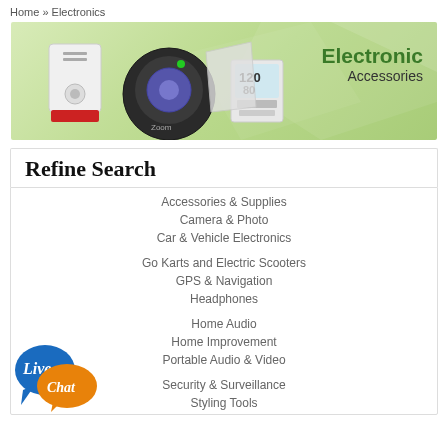Home » Electronics
[Figure (illustration): Banner image showing electronic accessories devices (alarm, round device, GPS unit) on a light green geometric background with text 'Electronic Accessories']
Refine Search
Accessories & Supplies
Camera & Photo
Car & Vehicle Electronics
Go Karts and Electric Scooters
GPS & Navigation
Headphones
Home Audio
Home Improvement
Portable Audio & Video
Security & Surveillance
Styling Tools
[Figure (illustration): Live Chat button with blue and orange speech bubbles]